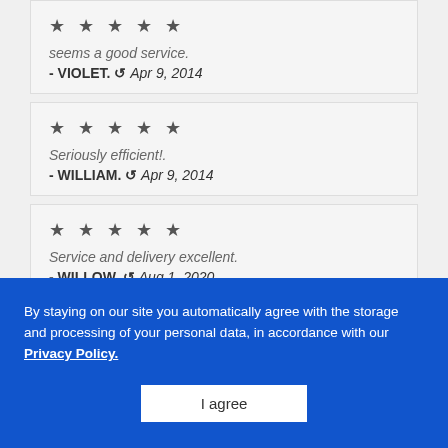★ ★ ★ ★ ★
seems a good service.
- VIOLET. ↺ Apr 9, 2014
★ ★ ★ ★ ★
Seriously efficient!.
- WILLIAM. ↺ Apr 9, 2014
★ ★ ★ ★ ★
Service and delivery excellent.
- WILLOW. ↺ Aug 1, 2020
★ ★ ★ ★ ★
Service and delivery times was all on point and received my order well within the times that was given. Highly recommended
By staying on our site you automatically agree with the storage and processing of your personal data, in accordance with our Privacy Policy.
I agree